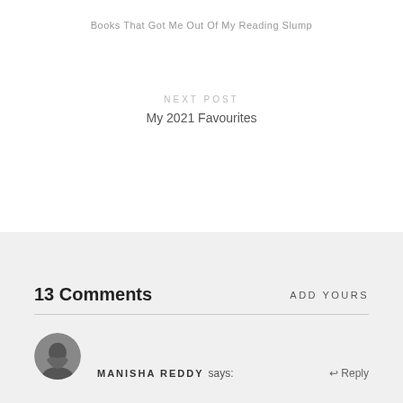Books That Got Me Out Of My Reading Slump
NEXT POST
My 2021 Favourites
13 Comments
ADD YOURS
MANISHA REDDY says:
↩ Reply